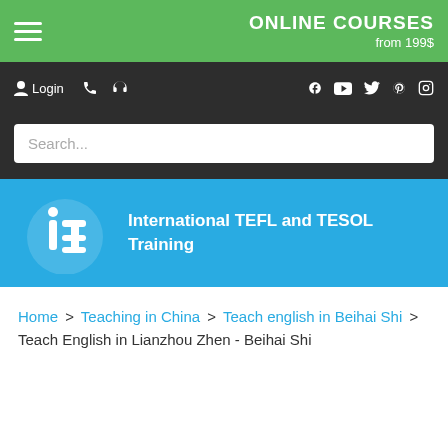ONLINE COURSES from 199$
Login
[Figure (logo): ITTT logo - International TEFL and TESOL Training blue banner with white logo and text]
Home > Teaching in China > Teach english in Beihai Shi > Teach English in Lianzhou Zhen - Beihai Shi